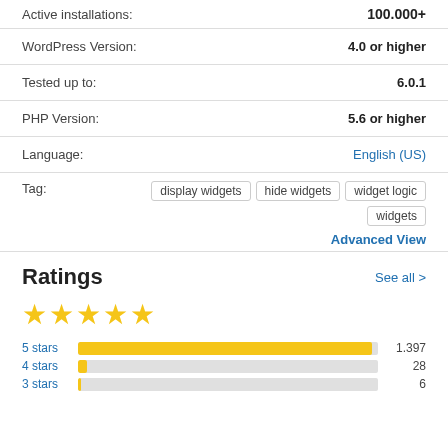| Label | Value |
| --- | --- |
| Active installations: | 100.000+ |
| WordPress Version: | 4.0 or higher |
| Tested up to: | 6.0.1 |
| PHP Version: | 5.6 or higher |
| Language: | English (US) |
| Tag: | display widgets  hide widgets  widget logic  widgets |
Advanced View
Ratings
[Figure (bar-chart): Ratings]